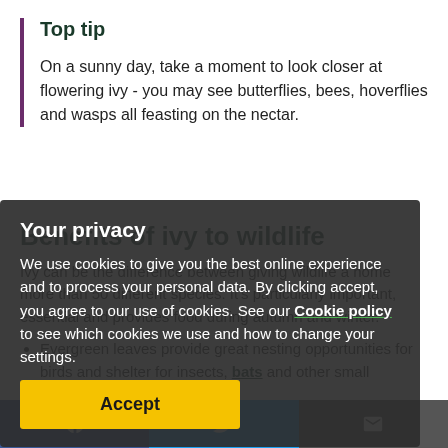Top tip
On a sunny day, take a moment to look closer at flowering ivy - you may see butterflies, bees, hoverflies and wasps all feasting on the nectar.
Benefits of ivy to wildlife
Ivy can be the difference between giving wildlife a home more than 50 different species. It's particularly important, essential and provides food during autumn and winter.
Evergreen leaves provide great nesting opportunities for birds and shelter for insects, bats and other small mammals.
Flowers come from the end of August and are...
Your privacy
We use cookies to give you the best online experience and to process your personal data. By clicking accept, you agree to our use of cookies. See our Cookie policy to see which cookies we use and how to change your settings.
Accept